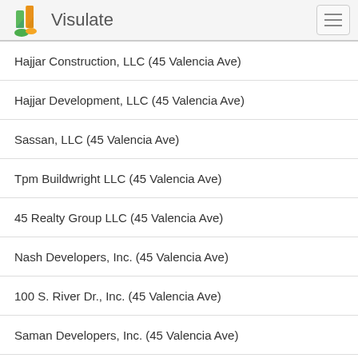Visulate
Hajjar Construction, LLC (45 Valencia Ave)
Hajjar Development, LLC (45 Valencia Ave)
Sassan, LLC (45 Valencia Ave)
Tpm Buildwright LLC (45 Valencia Ave)
45 Realty Group LLC (45 Valencia Ave)
Nash Developers, Inc. (45 Valencia Ave)
100 S. River Dr., Inc. (45 Valencia Ave)
Saman Developers, Inc. (45 Valencia Ave)
Arman Corp. (45 Valencia Ave)
Galiano Unit 304, Corp. (45 Valencia Ave)